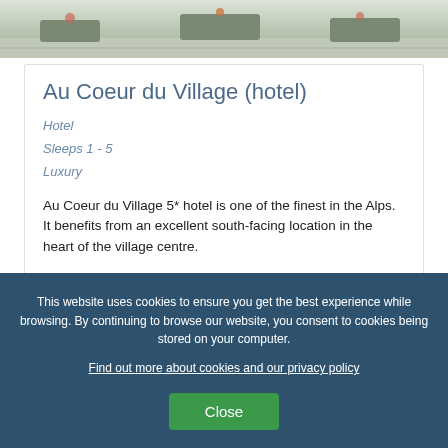[Figure (photo): Partial photo of the hotel exterior or grounds, showing a terrace or outdoor area with planters and paving.]
Au Coeur du Village (hotel)
Hotel
Sleeps 1 - 5
Luxury
Au Coeur du Village 5* hotel is one of the finest in the Alps. It benefits from an excellent south-facing location in the heart of the village centre.
This website uses cookies to ensure you get the best experience while browsing. By continuing to browse our website, you consent to cookies being stored on your computer.
Find out more about cookies and our privacy policy
Close